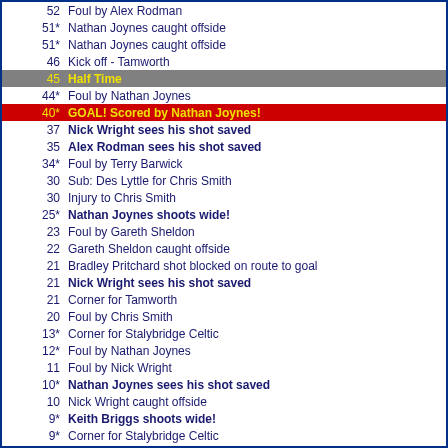52 - Foul by Alex Rodman
51* - Nathan Joynes caught offside
51* - Nathan Joynes caught offside
46 - Kick off - Tamworth
45 - Half Time
44* - Foul by Nathan Joynes
40* - GOAL! Scored by Nathan Joynes!
37 - Nick Wright sees his shot saved
35 - Alex Rodman sees his shot saved
34* - Foul by Terry Barwick
30 - Sub: Des Lyttle for Chris Smith
30 - Injury to Chris Smith
25* - Nathan Joynes shoots wide!
23 - Foul by Gareth Sheldon
22 - Gareth Sheldon caught offside
21 - Bradley Pritchard shot blocked on route to goal
21 - Nick Wright sees his shot saved
21 - Corner for Tamworth
20 - Foul by Chris Smith
13* - Corner for Stalybridge Celtic
12* - Foul by Nathan Joynes
11 - Foul by Nick Wright
10* - Nathan Joynes sees his shot saved
10 - Nick Wright caught offside
9* - Keith Briggs shoots wide!
9* - Corner for Stalybridge Celtic
9* - Steve Torpey sees his shot saved
7 - Bradley Pritchard shoots wide!